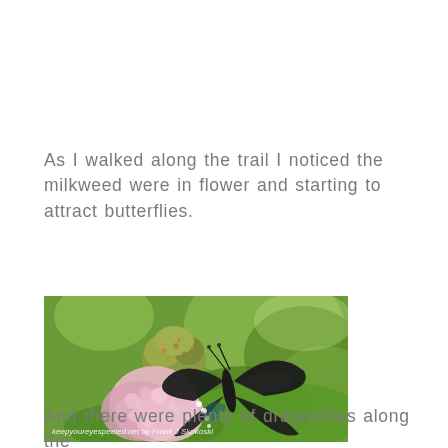As I walked along the trail I noticed the milkweed were in flower and starting to attract butterflies.
[Figure (photo): A black swallowtail butterfly feeding on pink milkweed flowers with green leaves in the background. Watermark reads: keepyoureyespeeled.net by Frank J Skokoski]
And there were plenty of dragonflies along the